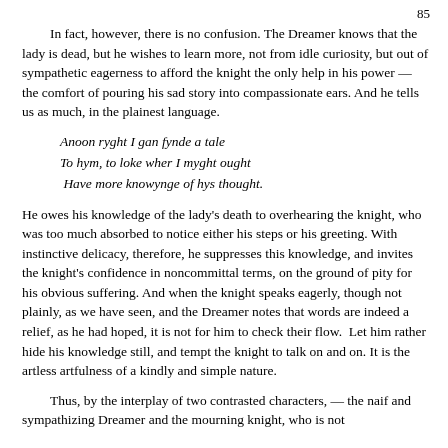85
In fact, however, there is no confusion. The Dreamer knows that the lady is dead, but he wishes to learn more, not from idle curiosity, but out of sympathetic eagerness to afford the knight the only help in his power — the comfort of pouring his sad story into compassionate ears. And he tells us as much, in the plainest language.
Anoon ryght I gan fynde a tale
To hym, to loke wher I myght ought
Have more knowynge of hys thought.
He owes his knowledge of the lady's death to overhearing the knight, who was too much absorbed to notice either his steps or his greeting. With instinctive delicacy, therefore, he suppresses this knowledge, and invites the knight's confidence in noncommittal terms, on the ground of pity for his obvious suffering. And when the knight speaks eagerly, though not plainly, as we have seen, and the Dreamer notes that words are indeed a relief, as he had hoped, it is not for him to check their flow.  Let him rather hide his knowledge still, and tempt the knight to talk on and on. It is the artless artfulness of a kindly and simple nature.
Thus, by the interplay of two contrasted characters, — the naif and sympathizing Dreamer and the mourning knight, who is not